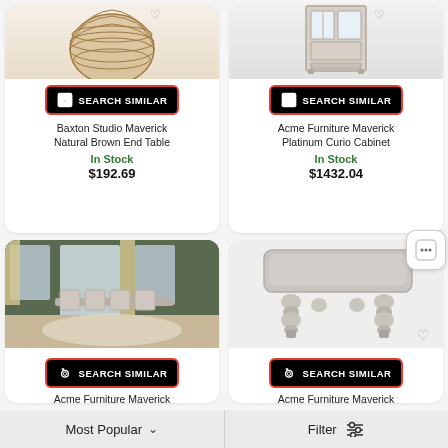[Figure (screenshot): Product image of Baxton Studio Maverick Natural Brown End Table (wicker/rattan sphere shape) - top portion cropped]
[Figure (screenshot): Product image of Acme Furniture Maverick Platinum Curio Cabinet - top portion cropped]
[Figure (infographic): Search Similar button with camera icon for first top card]
[Figure (infographic): Search Similar button with camera icon for second top card]
Baxton Studio Maverick Natural Brown End Table
Acme Furniture Maverick Platinum Curio Cabinet
In Stock
$192.69
In Stock
$1432.04
[Figure (screenshot): Product image of Acme Furniture Maverick dining room set with table and chairs]
[Figure (screenshot): Product image of Acme Furniture Maverick bench/stool with silver upholstery and ornate legs]
[Figure (infographic): Search Similar button with camera icon for bottom left card]
[Figure (infographic): Search Similar button with camera icon for bottom right card]
Acme Furniture Maverick
Acme Furniture Maverick
Most Popular
Filter